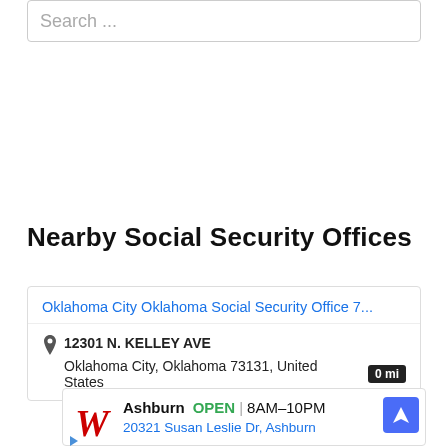Search ...
Nearby Social Security Offices
Oklahoma City Oklahoma Social Security Office 7...
12301 N. KELLEY AVE
Oklahoma City, Oklahoma 73131, United States  0 mi
[Figure (infographic): Advertisement box showing Walgreens logo, business name 'Ashburn', OPEN status, hours 8AM-10PM, address 20321 Susan Leslie Dr, Ashburn, and a blue navigation/directions icon]
Ashburn OPEN | 8AM–10PM
20321 Susan Leslie Dr, Ashburn